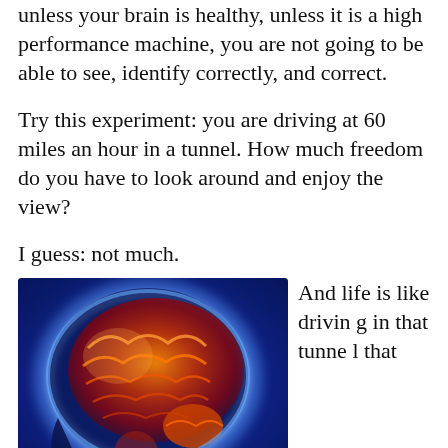unless your brain is healthy, unless it is a high performance machine, you are not going to be able to see, identify correctly, and correct.
Try this experiment: you are driving at 60 miles an hour in a tunnel. How much freedom do you have to look around and enjoy the view?
I guess: not much.
[Figure (photo): Medical illustration of a human brain in profile view, glowing with orange, red, and yellow colors against a deep blue background, showing detailed brain anatomy.]
And life is like driving in that tunnel that